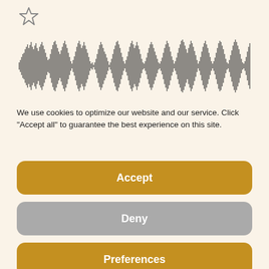[Figure (other): Star/bookmark outline icon in the top-left corner]
[Figure (continuous-plot): Audio waveform visualization showing dense vertical bars of varying heights representing sound amplitude over time]
We use cookies to optimize our website and our service. Click "Accept all" to guarantee the best experience on this site.
Accept
Deny
Preferences
Cookie Policy   Privacy Policy